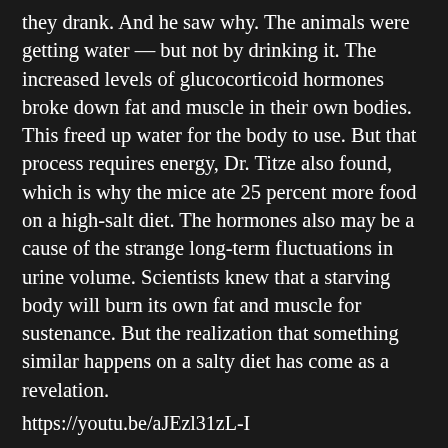they drank. And he saw why. The animals were getting water — but not by drinking it. The increased levels of glucocorticoid hormones broke down fat and muscle in their own bodies. This freed up water for the body to use. But that process requires energy, Dr. Titze also found, which is why the mice ate 25 percent more food on a high-salt diet. The hormones also may be a cause of the strange long-term fluctuations in urine volume. Scientists knew that a starving body will burn its own fat and muscle for sustenance. But the realization that something similar happens on a salty diet has come as a revelation.
https://youtu.be/aJEzl31zL-I